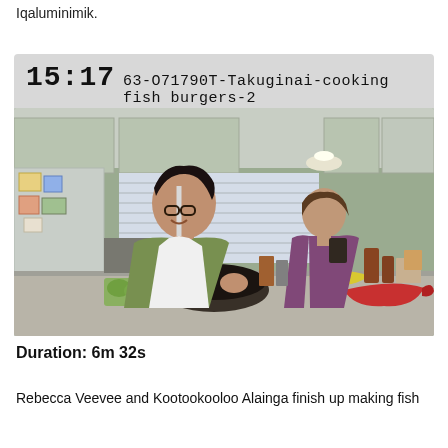Iqaluminimik.
15:17 63-O71790T-Takuginai-cooking fish burgers-2
[Figure (photo): Two women cooking in a kitchen. One woman in foreground wearing white apron and glasses, smiling, stirring a wok/bowl. Another woman in background working at the counter. Kitchen counter has vegetables, a banana, and a large red fish. Refrigerator visible on left with magnets.]
Duration: 6m 32s
Rebecca Veevee and Kootookooloo Alainga finish up making fish